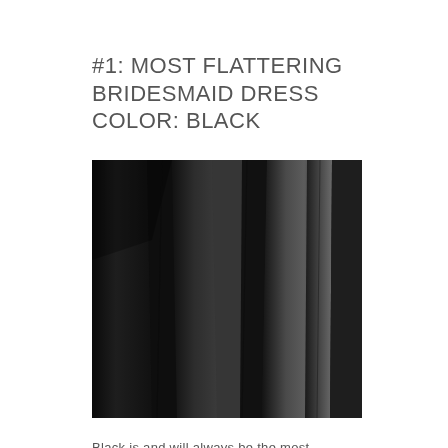#1: MOST FLATTERING BRIDESMAID DRESS COLOR: BLACK
[Figure (photo): Close-up photograph of black fabric with pleats/folds, showing deep shadows and highlights on the draped fabric material]
Black is and will always be the most